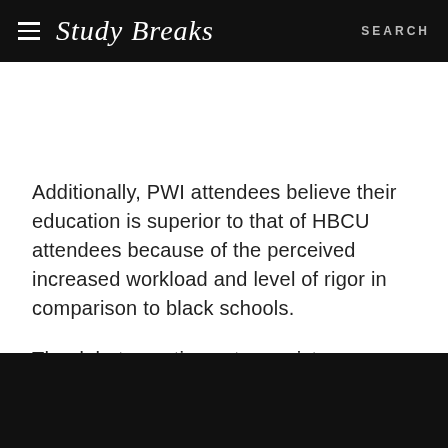Study Breaks   SEARCH
Additionally, PWI attendees believe their education is superior to that of HBCU attendees because of the perceived increased workload and level of rigor in comparison to black schools.
The debate continues to persist on various